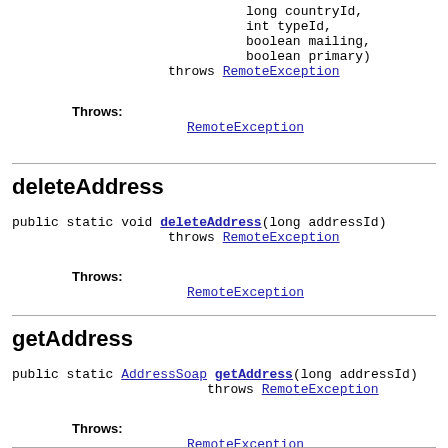long countryId,
int typeId,
boolean mailing,
boolean primary)
throws RemoteException
Throws:
    RemoteException
deleteAddress
public static void deleteAddress(long addressId)
                    throws RemoteException
Throws:
    RemoteException
getAddress
public static AddressSoap getAddress(long addressId)
                         throws RemoteException
Throws:
    RemoteException